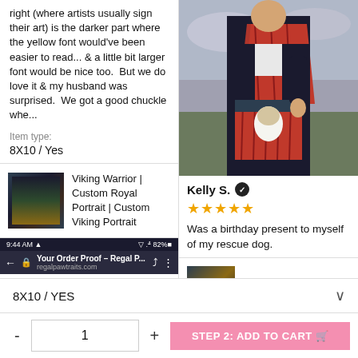right (where artists usually sign their art) is the darker part where the yellow font would've been easier to read... & a little bit larger font would be nice too.  But we do love it & my husband was surprised.  We got a good chuckle whe...
Item type:
8X10 / Yes
Viking Warrior | Custom Royal Portrait | Custom Viking Portrait
[Figure (screenshot): Mobile phone screenshot showing a browser with 'Your Order Proof – Regal P...' from regalpawtraits.com. Status bar shows 9:44 AM and 82% battery. Content says 'request any changes by leaving a comment below. If we do not hear back from you in 7 days, this proof will']
[Figure (photo): Custom royal portrait painting of a man in Scottish highland warrior attire with red tartan kilt and sash, dark jacket, standing before a cloudy landscape background.]
Kelly S. ✓
★★★★★
Was a birthday present to myself of my rescue dog.
Digital Artwork Download
8X10 / YES
STEP 2: ADD TO CART 🛒